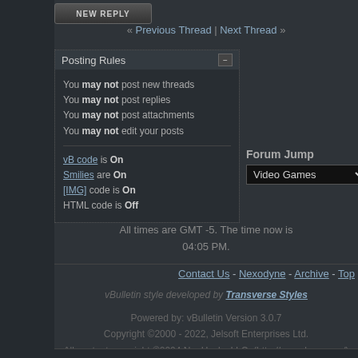[Figure (screenshot): New Reply button at top left]
« Previous Thread | Next Thread »
Posting Rules
You may not post new threads
You may not post replies
You may not post attachments
You may not edit your posts
vB code is On
Smilies are On
[IMG] code is On
HTML code is Off
Forum Jump
All times are GMT -5. The time now is 04:05 PM.
Contact Us - Nexodyne - Archive - Top
vBulletin style developed by Transverse Styles
Powered by: vBulletin Version 3.0.7
Copyright ©2000 - 2022, Jelsoft Enterprises Ltd.
All content copyright ©2004 NeoHacks LLC. (http://nexodyne.com/)